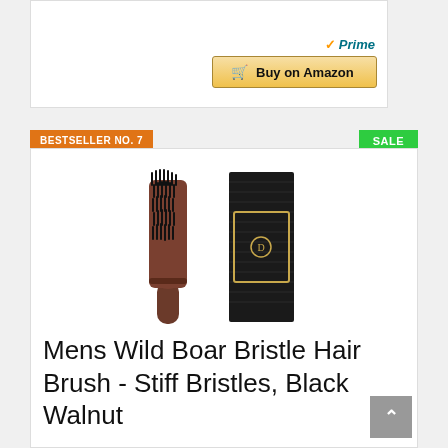[Figure (screenshot): Amazon Prime logo and Buy on Amazon button inside a white card]
BESTSELLER NO. 7
SALE
[Figure (photo): Mens Wild Boar Bristle Hair Brush with black walnut handle and dark box packaging]
Mens Wild Boar Bristle Hair Brush - Stiff Bristles, Black Walnut